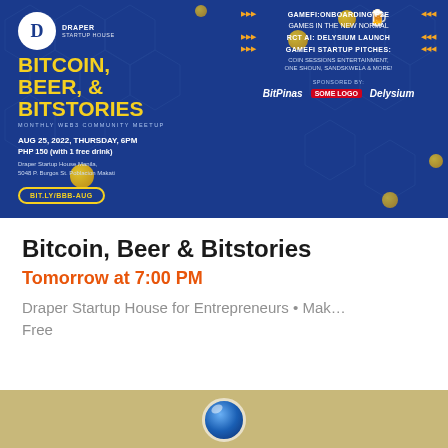[Figure (infographic): Event banner for 'Bitcoin, Beer & Bitstories' monthly Web3 community meetup. Dark blue background with hexagon pattern. Shows Draper Startup House logo, event date AUG 25, 2022 Thursday 6PM, price PHP 150 (with 1 free drink), location Draper Startup House Manila 5048 P. Burgos St. Poblacion Makati, registration link BIT.LY/BBB-AUG. Right side lists agenda: GameFi: Onboarding P2E Games in the New Normal, RCT AI: Delysium Launch, GameFi Startup Pitches featuring Coin Sessions Entertainment, One Shoun, Sandskwela & More. Sponsored by BitPinas, [red logo], Delysium.]
Bitcoin, Beer & Bitstories
Tomorrow at 7:00 PM
Draper Startup House for Entrepreneurs • Mak…
Free
[Figure (illustration): Partial view of a beige/tan banner with a blue globe icon at the top center, partially visible at the bottom of the page.]